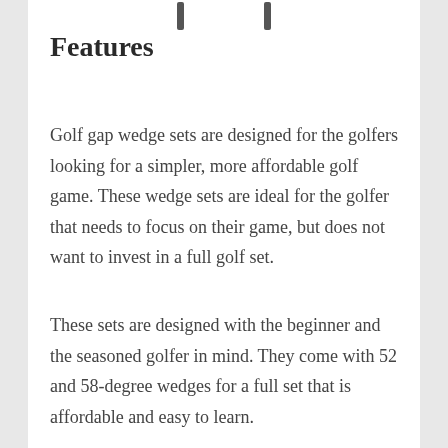[Figure (illustration): Two golf club shafts/irons shown at the top of the page, partially cropped]
Features
Golf gap wedge sets are designed for the golfers looking for a simpler, more affordable golf game. These wedge sets are ideal for the golfer that needs to focus on their game, but does not want to invest in a full golf set.
These sets are designed with the beginner and the seasoned golfer in mind. They come with 52 and 58-degree wedges for a full set that is affordable and easy to learn.